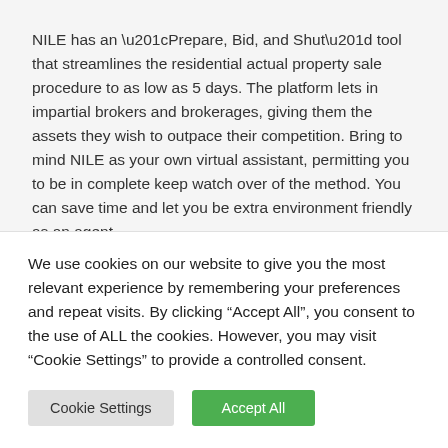NILE has an “Prepare, Bid, and Shut” tool that streamlines the residential actual property sale procedure to as low as 5 days. The platform lets in impartial brokers and brokerages, giving them the assets they wish to outpace their competition. Bring to mind NILE as your own virtual assistant, permitting you to be in complete keep watch over of the method. You can save time and let you be extra environment friendly as an agent.
Omit the basics you discovered in actual property books:
We use cookies on our website to give you the most relevant experience by remembering your preferences and repeat visits. By clicking “Accept All”, you consent to the use of ALL the cookies. However, you may visit “Cookie Settings” to provide a controlled consent.